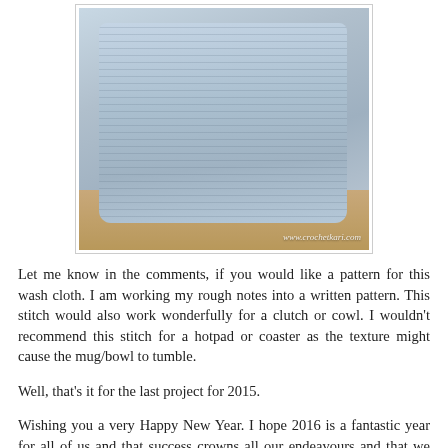[Figure (photo): Photo of a light blue crocheted washcloth with textured ribbed stitch pattern, laid on a wooden surface. Watermark reads www.crochetkari.com]
Let me know in the comments, if you would like a pattern for this wash cloth. I am working my rough notes into a written pattern. This stitch would also work wonderfully for a clutch or cowl. I wouldn't recommend this stitch for a hotpad or coaster as the texture might cause the mug/bowl to tumble.
Well, that's it for the last project for 2015.
Wishing you a very Happy New Year. I hope 2016 is a fantastic year for all of us and that success crowns all our endeavours and that we are able to achieve our goals -